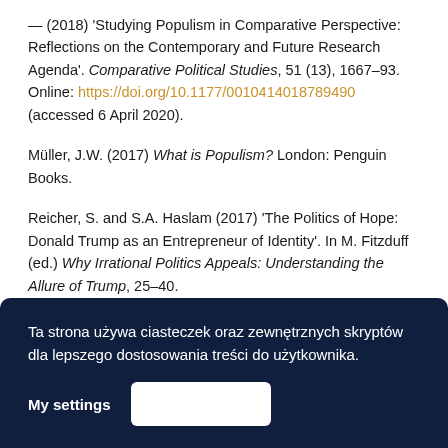— (2018) 'Studying Populism in Comparative Perspective: Reflections on the Contemporary and Future Research Agenda'. Comparative Political Studies, 51 (13), 1667–93. Online: https://doi.org/10.1177/0010414018789490 (accessed 6 April 2020).
Müller, J.W. (2017) What is Populism? London: Penguin Books.
Reicher, S. and S.A. Haslam (2017) 'The Politics of Hope: Donald Trump as an Entrepreneur of Identity'. In M. Fitzduff (ed.) Why Irrational Politics Appeals: Understanding the Allure of Trump, 25–40.
Ta strona używa ciasteczek oraz zewnętrznych skryptów dla lepszego dostosowania treści do użytkownika. My settings